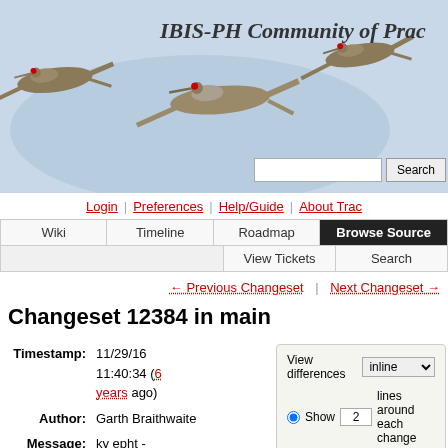[Figure (screenshot): Website header with flying cranes/sandhill cranes photo on blue-sky background with oval vignette]
IBIS-PH Community of Practice
Login | Preferences | Help/Guide | About Trac
Wiki | Timeline | Roadmap | Browse Source | View Tickets | Search
← Previous Changeset | Next Changeset →
Changeset 12384 in main
Timestamp: 11/29/16 11:40:34 (6 years ago)
Author: Garth Braithwaite
Message: ky epht - metadata updates.
Location: adopters/ky-
View differences inline | Show 2 lines around each change | Show the changes in full context | Ignore: Blank lines, Case changes, White space changes | Update